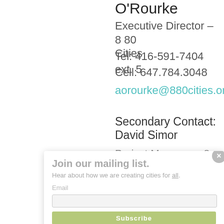O'Rourke
Executive Director – 8 80 Cities
Tel: 416-591-7404 ext. 5
Cell: 647.784.3048
aorourke@880cities.org
Secondary Contact: David Simor
Project Manager – 8 80 Cities
Tel: 416-418-4885
dsimor@880cities.org
[Figure (screenshot): Popup modal overlay with 'Join our mailing list.' heading, 'Hear about how we are creating cities for all.' subtitle with 'all' underlined, Email label, email input field, Subscribe button with green background, and an X close button.]
[Toronto, Ontario]: Not for profit 8 80 Cities is pleased to announce that City Council has approved 8 80 Streets